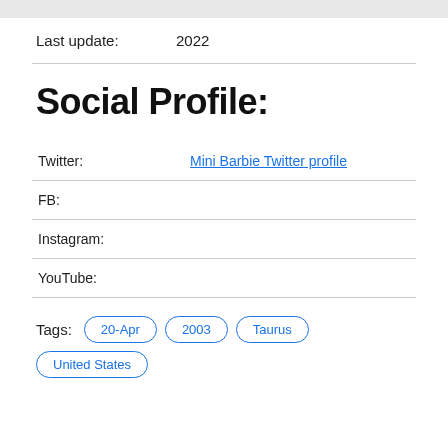Last update: 2022
Social Profile:
| Field | Value |
| --- | --- |
| Twitter: | Mini Barbie Twitter profile |
| FB: |  |
| Instagram: |  |
| YouTube: |  |
Tags: 20-Apr 2003 Taurus United States